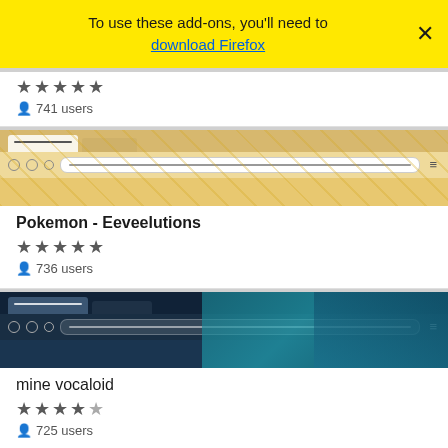To use these add-ons, you'll need to download Firefox
[Figure (screenshot): Browser preview thumbnail showing Eevee Pokemon themed browser with tab bar]
Pokemon - Eeveelutions
★★★★★
736 users
[Figure (screenshot): Browser preview thumbnail showing anime/vocaloid character with teal hair on dark background]
mine vocaloid
★★★½☆
725 users
[Figure (screenshot): Browser preview thumbnail showing anime characters with purple/blue background]
M... (partial, cut off)